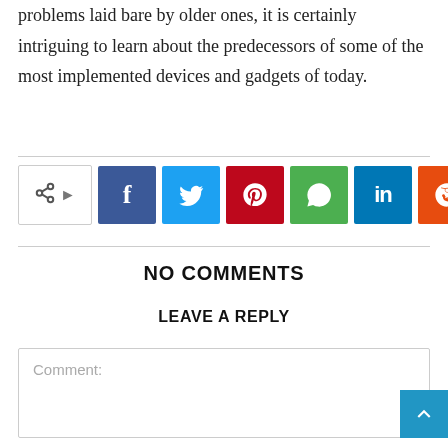problems laid bare by older ones, it is certainly intriguing to learn about the predecessors of some of the most implemented devices and gadgets of today.
[Figure (infographic): Social share bar with share icon button and six colored social media buttons: Facebook (blue), Twitter (cyan), Pinterest (red), WhatsApp (green), LinkedIn (dark blue), Reddit (orange)]
NO COMMENTS
LEAVE A REPLY
Comment: